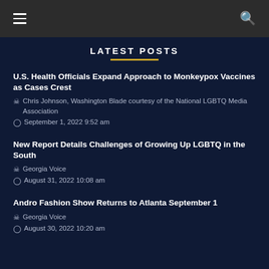≡  🔍
LATEST POSTS
U.S. Health Officials Expand Approach to Monkeypox Vaccines as Cases Crest
Chris Johnson, Washington Blade courtesy of the National LGBTQ Media Association
September 1, 2022 9:52 am
New Report Details Challenges of Growing Up LGBTQ in the South
Georgia Voice
August 31, 2022 10:08 am
Andro Fashion Show Returns to Atlanta September 1
Georgia Voice
August 30, 2022 10:20 am